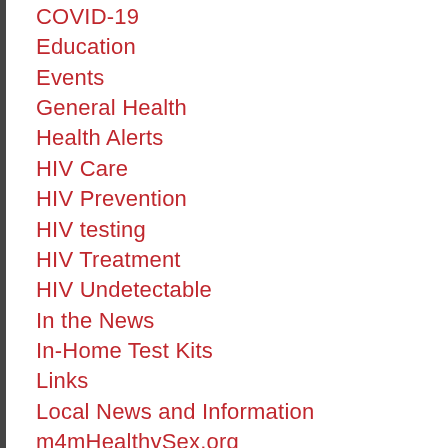COVID-19
Education
Events
General Health
Health Alerts
HIV Care
HIV Prevention
HIV testing
HIV Treatment
HIV Undetectable
In the News
In-Home Test Kits
Links
Local News and Information
m4mHealthySex.org
Media
Monkeypox
PrEP